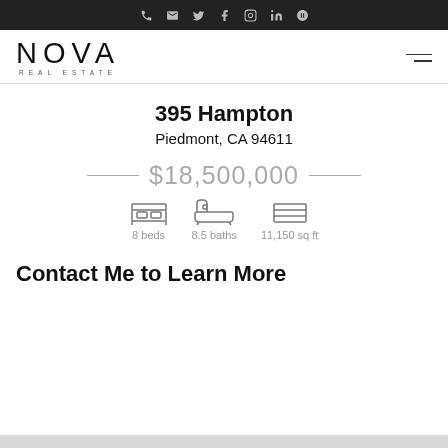NOVA REAL ESTATE — navigation bar with social icons
[Figure (logo): NOVA REAL ESTATE logo with hamburger menu]
395 Hampton
Piedmont, CA 94611
$18,500,000
8 beds   8.5 baths   11,150 sq ft
Contact Me to Learn More